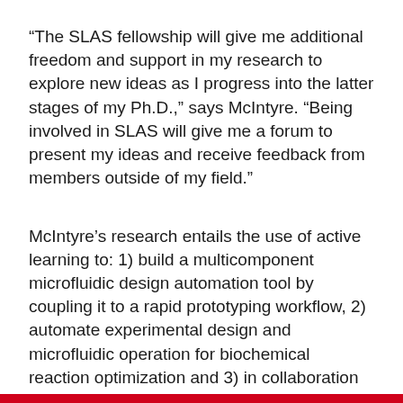“The SLAS fellowship will give me additional freedom and support in my research to explore new ideas as I progress into the latter stages of my Ph.D.,” says McIntyre. “Being involved in SLAS will give me a forum to present my ideas and receive feedback from members outside of my field.”
McIntyre’s research entails the use of active learning to: 1) build a multicomponent microfluidic design automation tool by coupling it to a rapid prototyping workflow, 2) automate experimental design and microfluidic operation for biochemical reaction optimization and 3) in collaboration with other groups, perform a massively parallel screen of memory elements for environmental biosensor development as a platform